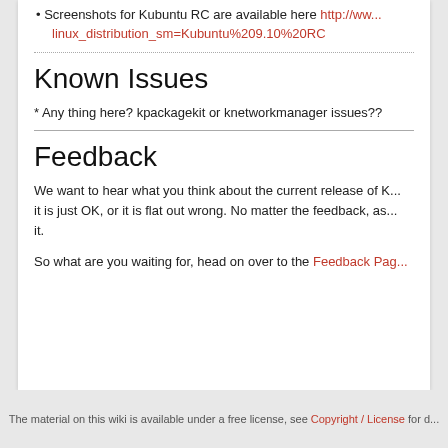Screenshots for Kubuntu RC are available here http://www...linux_distribution_sm=Kubuntu%209.10%20RC
Known Issues
* Any thing here? kpackagekit or knetworkmanager issues??
Feedback
We want to hear what you think about the current release of K... it is just OK, or it is flat out wrong. No matter the feedback, as... it.
So what are you waiting for, head on over to the Feedback Pag...
The material on this wiki is available under a free license, see Copyright / License for d...